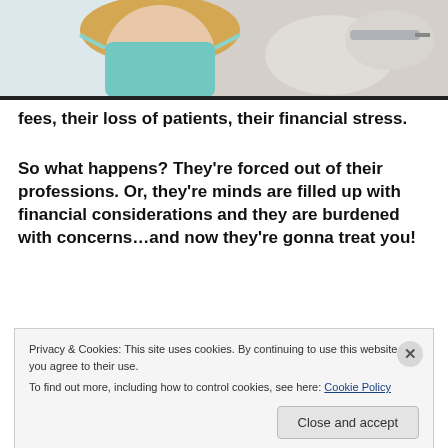[Figure (photo): Medical professional wearing a surgical mask and gloves, appearing to administer a shot or procedure to a patient]
fees, their loss of patients, their financial stress.
So what happens? They're forced out of their professions. Or, they're minds are filled up with financial considerations and they are burdened with concerns…and now they're gonna treat you!
Fooling the People About America
Privacy & Cookies: This site uses cookies. By continuing to use this website, you agree to their use.
To find out more, including how to control cookies, see here: Cookie Policy